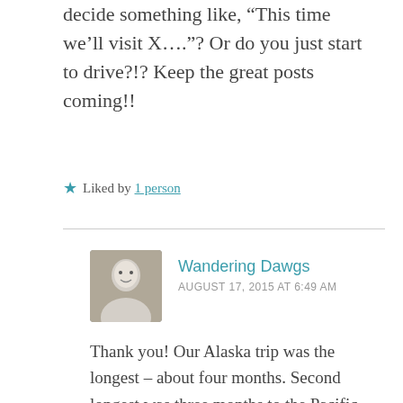decide something like, “This time we’ll visit X….”? Or do you just start to drive?!? Keep the great posts coming!!
★ Liked by 1 person
Wandering Dawgs — AUGUST 17, 2015 AT 6:49 AM
Thank you! Our Alaska trip was the longest – about four months. Second longest was three months to the Pacific coast. And several trips of around two months.
We usually have a main destination when we travel (visit family, attend a wedding...